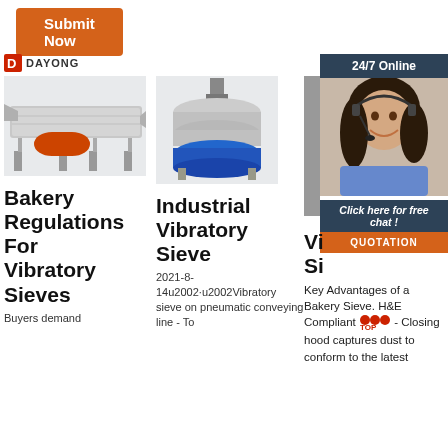Submit Now
[Figure (logo): DAYONG brand logo with red square D icon and text DAYONG]
[Figure (photo): Industrial vibratory screen/sieve machine - horizontal linear vibrating screen in stainless steel with orange cylindrical motor]
[Figure (photo): Industrial rotary vibratory sieve machine - round blue base with stainless steel top and vertical shaft]
[Figure (photo): Customer support representative woman with headset smiling, with 24/7 Online overlay header, Click here for free chat text and QUOTATION button]
Bakery Regulations For Vibratory Sieves
Industrial Vibratory Sieve
Vi... Si...
Buyers demand
2021-8-14u2002·u2002Vibratory sieve on pneumatic conveying line - To
Key Advantages of a Bakery Sieve. H&E Compliant - Closing hood captures dust to conform to the latest